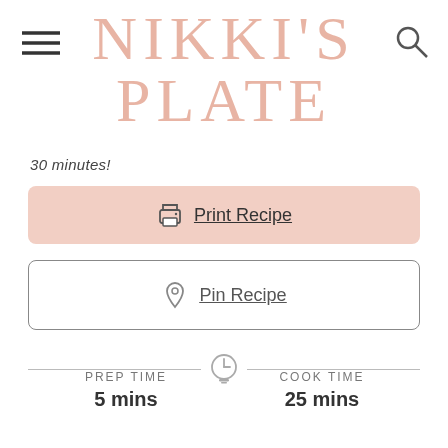NIKKI'S PLATE
30 minutes!
Print Recipe
Pin Recipe
PREP TIME
5 mins
COOK TIME
25 mins
COURSE
Main Course
CUISINE
Chinese